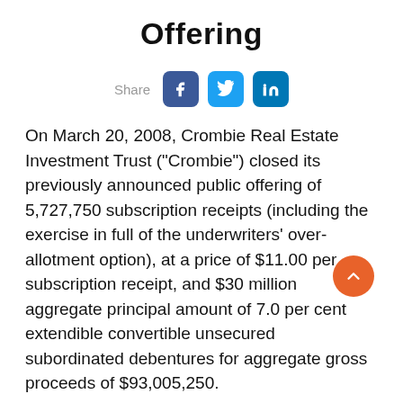Offering
[Figure (infographic): Social share buttons: Facebook, Twitter, LinkedIn with Share label]
On March 20, 2008, Crombie Real Estate Investment Trust (“Crombie”) closed its previously announced public offering of 5,727,750 subscription receipts (including the exercise in full of the underwriters' over-allotment option), at a price of $11.00 per subscription receipt, and $30 million aggregate principal amount of 7.0 per cent extendible convertible unsecured subordinated debentures for aggregate gross proceeds of $93,005,250.
The syndicate of underwriters was co-led by CIBC